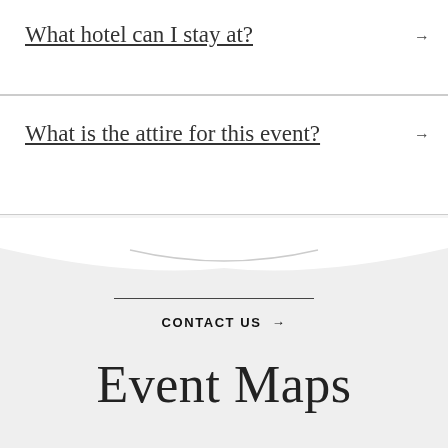What hotel can I stay at?
What is the attire for this event?
CONTACT US →
Event Maps